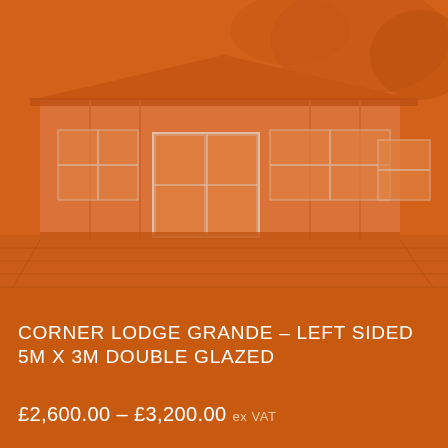[Figure (photo): Orange-tinted photograph of a Corner Lodge Grande garden building – a large corner log cabin with double-glazed windows and French doors, set on a wooden deck with trees in the background. The entire image has a strong orange/amber colour overlay.]
CORNER LODGE GRANDE – LEFT SIDED 5M X 3M DOUBLE GLAZED
£2,600.00 – £3,200.00 ex VAT